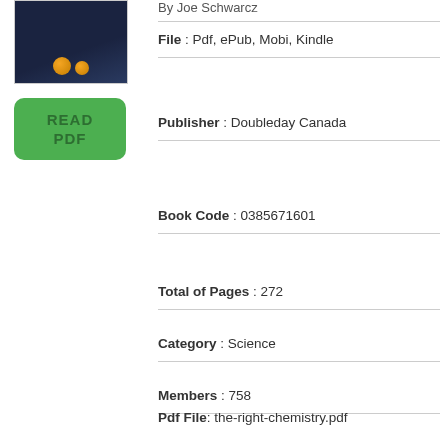[Figure (illustration): Book cover with dark blue background and two orange orbs at the bottom]
[Figure (illustration): Green READ PDF button]
By Joe Schwarcz
File : Pdf, ePub, Mobi, Kindle
Publisher : Doubleday Canada
Book Code : 0385671601
Total of Pages : 272
Category : Science
Members : 758
Pdf File: the-right-chemistry.pdf